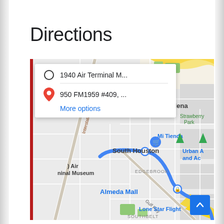Directions
[Figure (screenshot): Google Maps screenshot showing a route from 1940 Air Terminal Museum to 950 FM1959 #409, with a directions popup overlay showing two addresses and a 'More options' link. The map displays South Houston, Pasadena, Edgebrook, Almeda Mall, Lone Star Flight areas with a blue route line and a red vertical bar on the left side.]